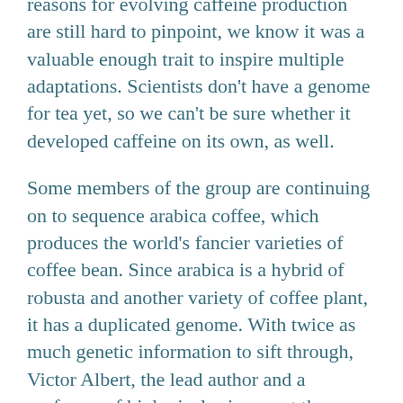reasons for evolving caffeine production are still hard to pinpoint, we know it was a valuable enough trait to inspire multiple adaptations. Scientists don't have a genome for tea yet, so we can't be sure whether it developed caffeine on its own, as well.
Some members of the group are continuing on to sequence arabica coffee, which produces the world's fancier varieties of coffee bean. Since arabica is a hybrid of robusta and another variety of coffee plant, it has a duplicated genome. With twice as much genetic information to sift through, Victor Albert, the lead author and a professor of biological sciences at the University at Buffalo, said, this becomes “a much more complicated affair.”
Albert and his colleagues have high hopes for the useful application of the sequencing. “When we compared the coffee to several other species, we saw a huge enrichment in disease-resistant genes,”